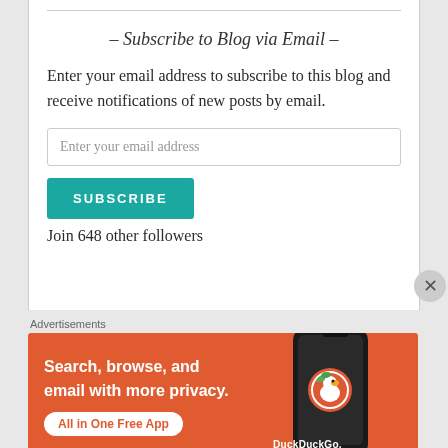– Subscribe to Blog via Email –
Enter your email address to subscribe to this blog and receive notifications of new posts by email.
Enter your email address
SUBSCRIBE
Join 648 other followers
Advertisements
[Figure (illustration): DuckDuckGo advertisement banner with orange background showing a smartphone and text: Search, browse, and email with more privacy. All in One Free App. DuckDuckGo.]